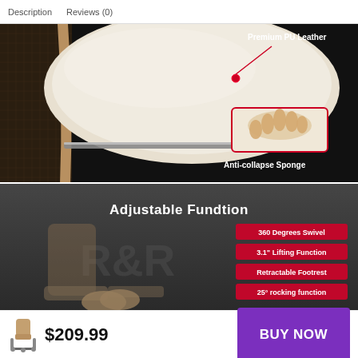Description   Reviews (0)
[Figure (photo): Close-up of a gaming chair seat cushion in white/cream PU leather with carbon fiber-style sides and chrome rail. Annotations point to 'Premium PU Leather' (top right) and 'Anti-collapse Sponge' (bottom right, with a small image of a hand pressing into foam).]
[Figure (photo): Dark grey background promotional image showing a gaming chair reclined with a person's legs/feet on the footrest. Bold white text reads 'Adjustable Fundtion'. Red badge labels on right list: '360 Degrees Swivel', '3.1" Lifting Function', 'Retractable Footrest', '25° rocking function'.]
$209.99   BUY NOW